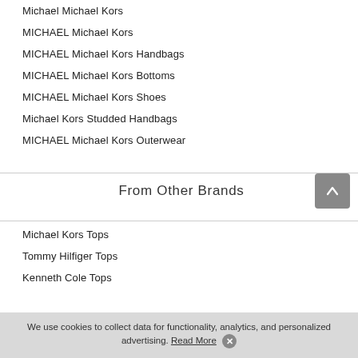Michael Michael Kors
MICHAEL Michael Kors
MICHAEL Michael Kors Handbags
MICHAEL Michael Kors Bottoms
MICHAEL Michael Kors Shoes
Michael Kors Studded Handbags
MICHAEL Michael Kors Outerwear
From Other Brands
Michael Kors Tops
Tommy Hilfiger Tops
Kenneth Cole Tops
We use cookies to collect data for functionality, analytics, and personalized advertising. Read More ✕